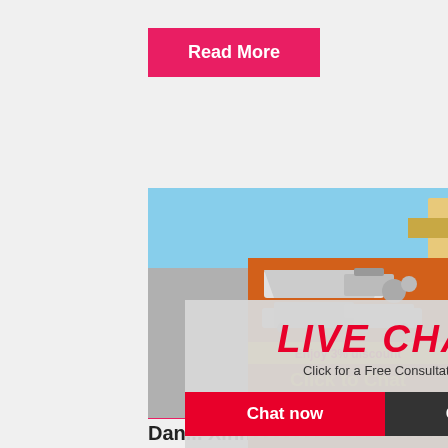Read More
[Figure (photo): Construction site photo with workers in yellow hard hats and heavy machinery]
[Figure (infographic): Live Chat overlay with 'LIVE CHAT', 'Click for a Free Consultation', 'Chat now' and 'Chat later' buttons]
[Figure (infographic): Right sidebar ad for mining/crushing equipment with 'Enjoy 3% discount', 'Click to Chat', 'Enquiry', 'limingjlmofen@sina.com']
Dan... Xinhai
21-03-2018 · Due to different ore properti...
Read More